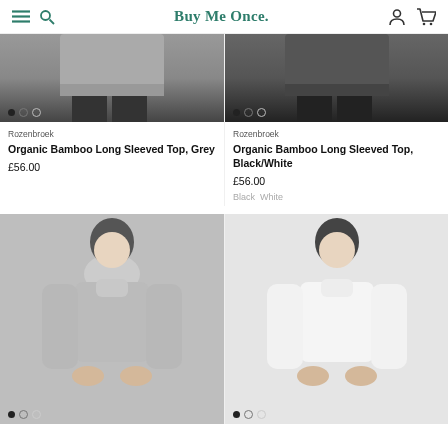Buy Me Once.
[Figure (photo): Grey bamboo long sleeved top product image, torso/lower body shot]
[Figure (photo): Black bamboo long sleeved top product image, torso/lower body shot]
Rozenbroek
Organic Bamboo Long Sleeved Top, Grey
£56.00
Rozenbroek
Organic Bamboo Long Sleeved Top, Black/White
£56.00
Black  White
[Figure (photo): Model wearing a light grey bamboo long sleeved mock-neck top, full body shot]
[Figure (photo): Model wearing a white bamboo long sleeved mock-neck top, full body shot]